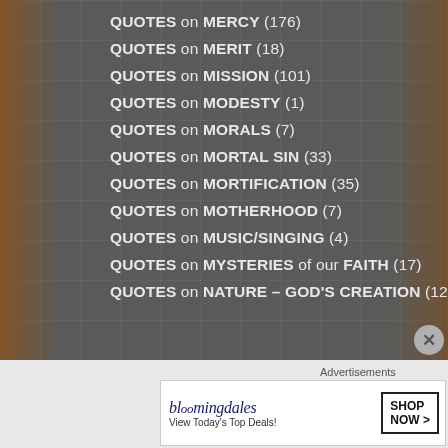QUOTES on MERCY (176)
QUOTES on MERIT (18)
QUOTES on MISSION (101)
QUOTES on MODESTY (1)
QUOTES on MORALS (7)
QUOTES on MORTAL SIN (33)
QUOTES on MORTIFICATION (35)
QUOTES on MOTHERHOOD (7)
QUOTES on MUSIC/SINGING (4)
QUOTES on MYSTERIES of our FAITH (17)
QUOTES on NATURE – GOD'S CREATION (12)
Advertisements
[Figure (screenshot): Bloomingdale's advertisement banner: 'bloomingdales – View Today's Top Deals! SHOP NOW >']